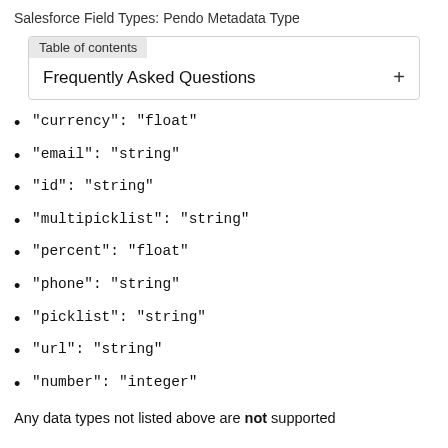Salesforce Field Types: Pendo Metadata Type
Table of contents
Frequently Asked Questions
"currency": "float"
"email": "string"
"id": "string"
"multipicklist": "string"
"percent": "float"
"phone": "string"
"picklist": "string"
"url": "string"
"number": "integer"
Any data types not listed above are not supported